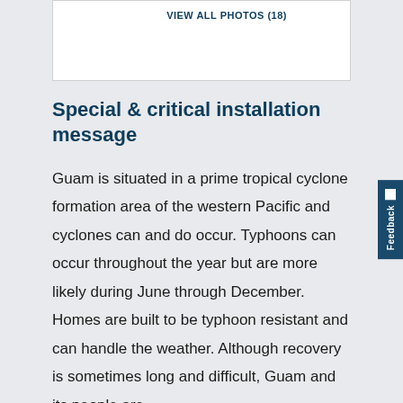VIEW ALL PHOTOS (18)
Special & critical installation message
Guam is situated in a prime tropical cyclone formation area of the western Pacific and cyclones can and do occur. Typhoons can occur throughout the year but are more likely during June through December. Homes are built to be typhoon resistant and can handle the weather. Although recovery is sometimes long and difficult, Guam and its people are